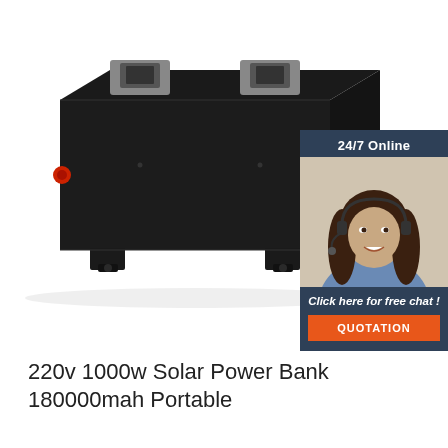[Figure (photo): Black rectangular solar power bank battery unit with two metal handle brackets on top, red connector on left side, and four mounting feet on the bottom. Photographed from a slight angle on white background.]
[Figure (photo): Promotional chat widget overlay in dark blue/slate color showing '24/7 Online' header, photo of smiling woman with headset, 'Click here for free chat!' text, and orange QUOTATION button.]
220v 1000w Solar Power Bank 180000mah Portable